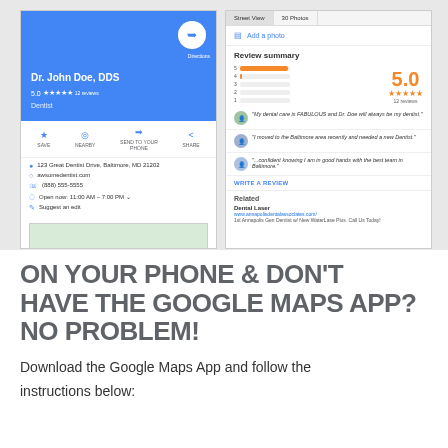[Figure (screenshot): Two side-by-side smartphone screenshots of Google Maps showing a dentist business profile for Dr. John Doe, DDS with 5.0 rating, 12 reviews, address, website, phone, hours, and a reviews panel with review summary, star rating 5.0, reviewer quotes, and Related section for Dental Laser.]
ON YOUR PHONE & DON'T HAVE THE GOOGLE MAPS APP? NO PROBLEM!
Download the Google Maps App and follow the instructions below: